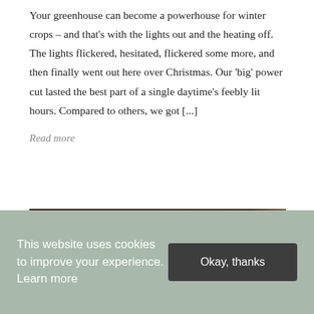Your greenhouse can become a powerhouse for winter crops – and that's with the lights out and the heating off. The lights flickered, hesitated, flickered some more, and then finally went out here over Christmas. Our 'big' power cut lasted the best part of a single daytime's feebly lit hours. Compared to others, we got [...]
Read more
[Figure (photo): Partial view of an interior photo, dark tones with warm reddish-brown accents, appears to be a room or shelf scene]
This website uses cookies to improve your experience. Learn more